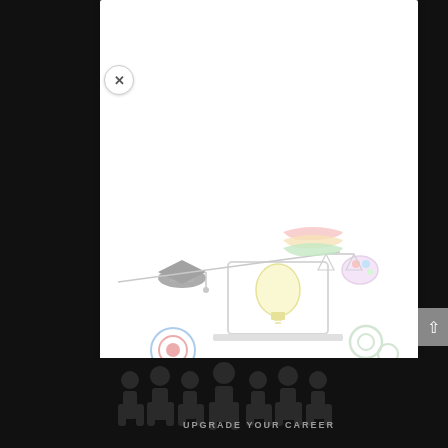Small Business
Small Business (partially visible menu/navigation items including: Home, Finance, marketing, The Stress-Free, Time Tips, Minds, internet C., Introductory)
[Figure (illustration): A colorful illustration featuring a laptop with a glowing light bulb on the screen, surrounded by various icons including a graduation cap, a target/goal icon, gears, a paint palette, scales of justice, and other education and business-related icons. Below is a silhouette of a group of professionals.]
UPGRADE YOUR CAREER